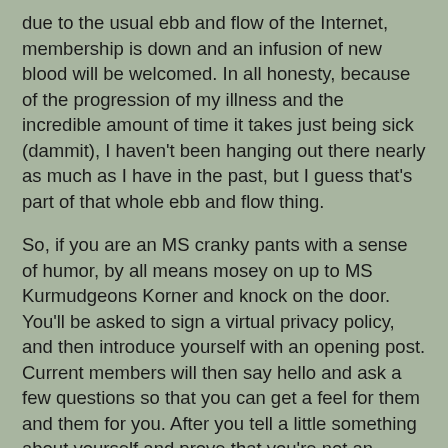due to the usual ebb and flow of the Internet, membership is down and an infusion of new blood will be welcomed. In all honesty, because of the progression of my illness and the incredible amount of time it takes just being sick (dammit), I haven't been hanging out there nearly as much as I have in the past, but I guess that's part of that whole ebb and flow thing.
So, if you are an MS cranky pants with a sense of humor, by all means mosey on up to MS Kurmudgeons Korner and knock on the door. You'll be asked to sign a virtual privacy policy, and then introduce yourself with an opening post. Current members will then say hello and ask a few questions so that you can get a feel for them and them for you. After you tell a little something about yourself and prove that you're not an undercover unicorn, you'll soon be given free rein to join the community.
Next up is a blog called Tripping on Air (click here), which is exceptionally well written by a classically trained singer with MS who lives in Toronto. The writer of Tripping on Air manages to blend her sardonic wit, keen sense of the